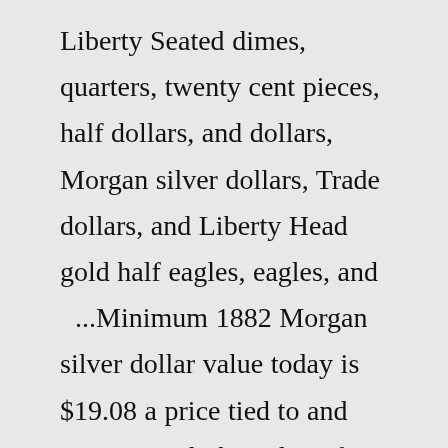Liberty Seated dimes, quarters, twenty cent pieces, half dollars, and dollars, Morgan silver dollars, Trade dollars, and Liberty Head gold half eagles, eagles, and ...Minimum 1882 Morgan silver dollar value today is $19.08 a price tied to and moving with the value of its silver content. Note: As to how much your coin is worth, there are two very important points you need to consider and confirm: 1) Identifying which of the four mint marks your coin is